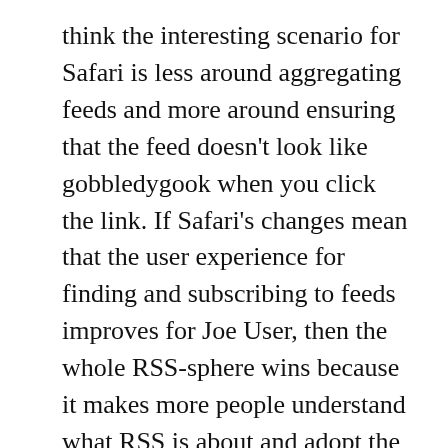think the interesting scenario for Safari is less around aggregating feeds and more around ensuring that the feed doesn't look like gobbledygook when you click the link. If Safari's changes mean that the user experience for finding and subscribing to feeds improves for Joe User, then the whole RSS-sphere wins because it makes more people understand what RSS is about and adopt the technology. There will still be a market for power apps like NetNewsWire when people tire of reading feeds in their browser and want a more refined experience—and at that point they'll understand the value and be able to make an informed decision about purchasing the product.